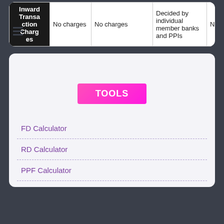| Inward Transaction Charges |  |  | Decided by individual member banks and PPIs | No charges |
| --- | --- | --- | --- | --- |
| Inward Transaction Charges | No charges | No charges | Decided by individual member banks and PPIs | No charges |
[Figure (other): TOOLS button - pink/magenta gradient button with white text]
FD Calculator
RD Calculator
PPF Calculator